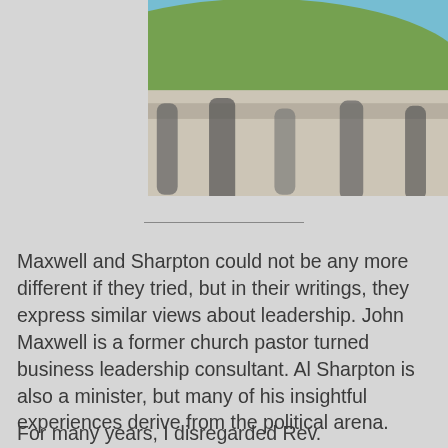[Figure (photo): Outdoor scene with people standing near a monument or memorial wall, blue sky and green hills in the background, blurred/bokeh style photograph]
Maxwell and Sharpton could not be any more different if they tried, but in their writings, they express similar views about leadership. John Maxwell is a former church pastor turned business leadership consultant. Al Sharpton is also a minister, but many of his insightful experiences derive from the political arena.
For many years, I disregarded Rev.